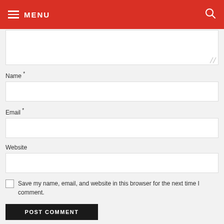MENU
[Figure (screenshot): Comment form with textarea, Name, Email, Website fields, save checkbox, and POST COMMENT button]
Name *
Email *
Website
Save my name, email, and website in this browser for the next time I comment.
POST COMMENT